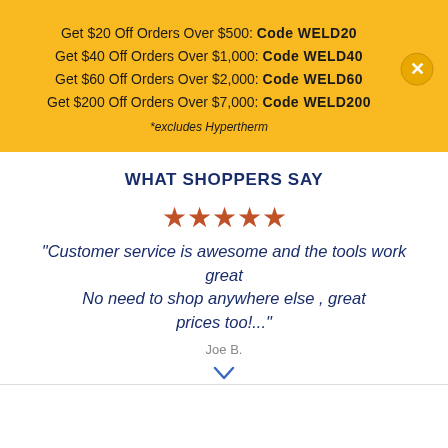Get $20 Off Orders Over $500: Code WELD20
Get $40 Off Orders Over $1,000: Code WELD40
Get $60 Off Orders Over $2,000: Code WELD60
Get $200 Off Orders Over $7,000: Code WELD200
*excludes Hypertherm
WHAT SHOPPERS SAY
[Figure (other): Five orange star rating icons]
"Customer service is awesome and the tools work great No need to shop anywhere else , great prices too!..."
Joe B.